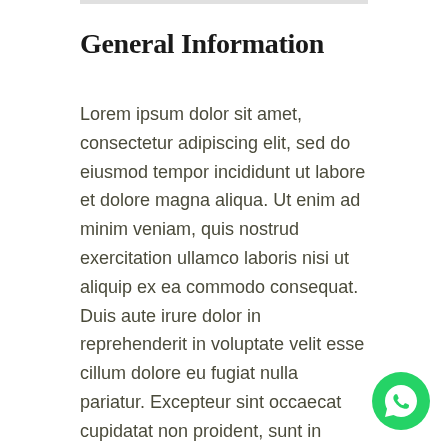General Information
Lorem ipsum dolor sit amet, consectetur adipiscing elit, sed do eiusmod tempor incididunt ut labore et dolore magna aliqua. Ut enim ad minim veniam, quis nostrud exercitation ullamco laboris nisi ut aliquip ex ea commodo consequat. Duis aute irure dolor in reprehenderit in voluptate velit esse cillum dolore eu fugiat nulla pariatur. Excepteur sint occaecat cupidatat non proident, sunt in culpa qui officia deserunt mollit anim id est laborum
[Figure (logo): WhatsApp button icon — green circle with white phone handset]